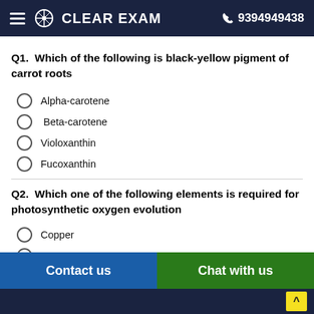CLEAR EXAM  9394949438
Q1.  Which of the following is black-yellow pigment of carrot roots
Alpha-carotene
Beta-carotene
Violoxanthin
Fucoxanthin
Q2.  Which one of the following elements is required for photosynthetic oxygen evolution
Copper
Iron
Manganese
Contact us  Chat with us